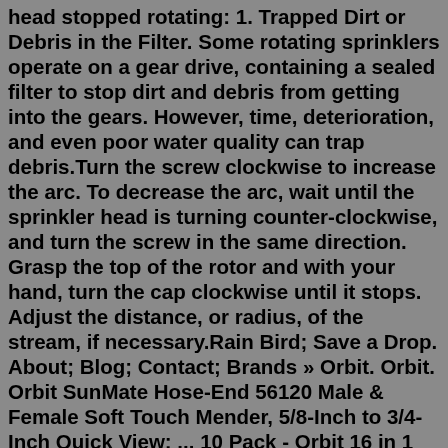head stopped rotating: 1. Trapped Dirt or Debris in the Filter. Some rotating sprinklers operate on a gear drive, containing a sealed filter to stop dirt and debris from getting into the gears. However, time, deterioration, and even poor water quality can trap debris.Turn the screw clockwise to increase the arc. To decrease the arc, wait until the sprinkler head is turning counter-clockwise, and turn the screw in the same direction. Grasp the top of the rotor and with your hand, turn the cap clockwise until it stops. Adjust the distance, or radius, of the stream, if necessary.Rain Bird; Save a Drop. About; Blog; Contact; Brands » Orbit. Orbit. Orbit SunMate Hose-End 56120 Male & Female Soft Touch Mender, 5/8-Inch to 3/4-Inch Quick View; ... 10 Pack - Orbit 16 in 1 Sprinkler Head Adjustment Tool Quick View; Orbit 16 in 1 Sprinkler Adjustment Tool for Pop up and other Sprinklers - 26099 Quick View;Step 2. Adjust the Rainbird 1800's spray distance or flow. An adjustment screw is located on top of the sprinkler head. You can adjust the spray distance by 25 percent.